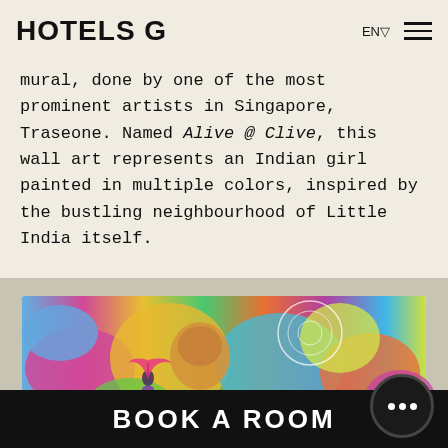HOTELS G   EN   ☰
mural, done by one of the most prominent artists in Singapore, Traseone. Named Alive @ Clive, this wall art represents an Indian girl painted in multiple colors, inspired by the bustling neighbourhood of Little India itself.
[Figure (photo): Colorful mural of an Indian girl painted in multiple colors, the 'Alive @ Clive' mural by Traseone, with a person standing in front of it holding a pink umbrella, located in Little India, Singapore.]
BOOK A ROOM